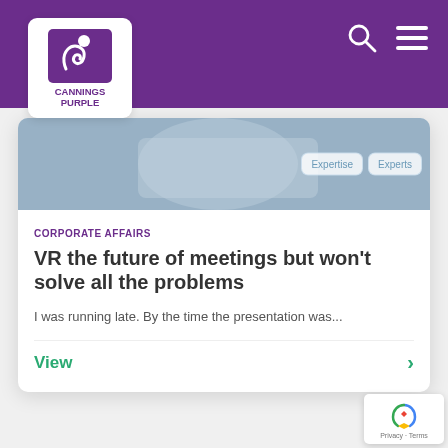[Figure (logo): Cannings Purple logo — white square with purple stylized bird/figure icon and text 'CANNINGS PURPLE']
[Figure (screenshot): Website navigation bar with purple background, search icon, and hamburger menu icon on right; Expertise and Experts buttons visible on hero image area]
CORPORATE AFFAIRS
VR the future of meetings but won't solve all the problems
I was running late. By the time the presentation was...
View
[Figure (logo): Google reCAPTCHA badge with recycling arrow icon and 'Privacy · Terms' text]